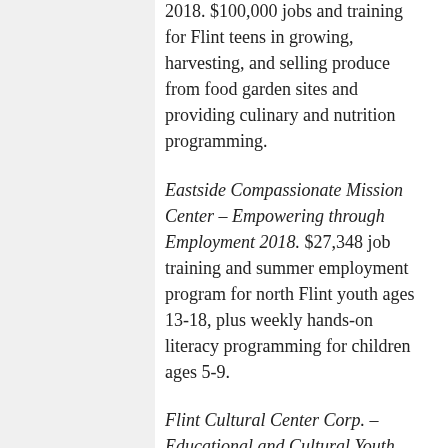2018. $100,000 jobs and training for Flint teens in growing, harvesting, and selling produce from food garden sites and providing culinary and nutrition programming.
Eastside Compassionate Mission Center – Empowering through Employment 2018. $27,348 job training and summer employment program for north Flint youth ages 13-18, plus weekly hands-on literacy programming for children ages 5-9.
Flint Cultural Center Corp. – Educational and Cultural Youth Activities.$39,722 for the Whiting's Youth Usher Corps teen employment program as well as Sloan/Longway's